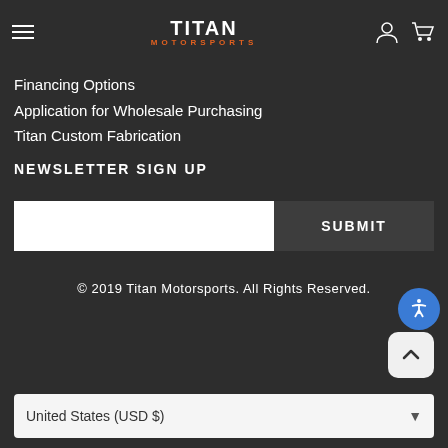Titan Motorsports — navigation header with hamburger menu, logo, user icon, and cart icon
Financing Options
Application for Wholesale Purchasing
Titan Custom Fabrication
NEWSLETTER SIGN UP
[Figure (screenshot): Email input field and SUBMIT button side by side]
© 2019 Titan Motorsports. All Rights Reserved.
United States (USD $)